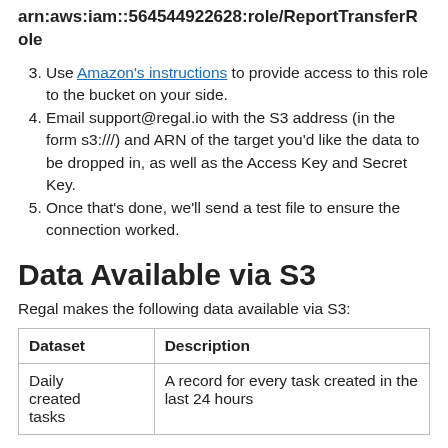arn:aws:iam::564544922628:role/ReportTransferRole
Use Amazon's instructions to provide access to this role to the bucket on your side.
Email support@regal.io with the S3 address (in the form s3:///) and ARN of the target you'd like the data to be dropped in, as well as the Access Key and Secret Key.
Once that's done, we'll send a test file to ensure the connection worked.
Data Available via S3
Regal makes the following data available via S3:
| Dataset | Description |
| --- | --- |
| Daily created tasks | A record for every task created in the last 24 hours |